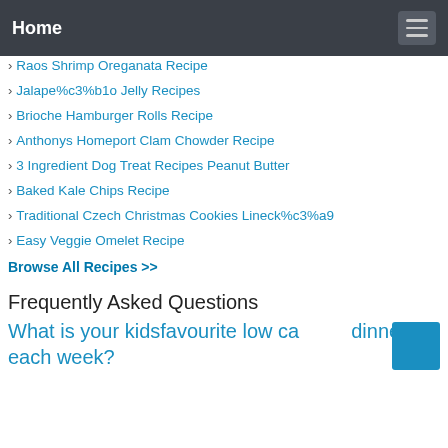Home
Raos Shrimp Oreganata Recipe
Jalape%c3%b1o Jelly Recipes
Brioche Hamburger Rolls Recipe
Anthonys Homeport Clam Chowder Recipe
3 Ingredient Dog Treat Recipes Peanut Butter
Baked Kale Chips Recipe
Traditional Czech Christmas Cookies Lineck%c3%a9
Easy Veggie Omelet Recipe
Browse All Recipes >>
Frequently Asked Questions
What is your kidsfavourite low carb dinner each week?